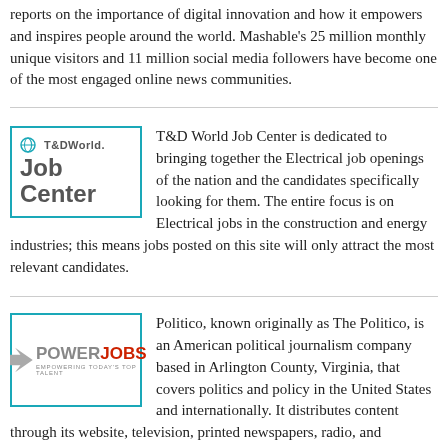reports on the importance of digital innovation and how it empowers and inspires people around the world. Mashable's 25 million monthly unique visitors and 11 million social media followers have become one of the most engaged online news communities.
[Figure (logo): T&D World Job Center logo — teal bordered box with globe icon and 'T&DWorld.' text above 'Job Center' in large gray text]
T&D World Job Center is dedicated to bringing together the Electrical job openings of the nation and the candidates specifically looking for them. The entire focus is on Electrical jobs in the construction and energy industries; this means jobs posted on this site will only attract the most relevant candidates.
[Figure (logo): PowerJobs logo — arrow icon with POWER in gray and JOBS in red, tagline 'Empowering Today's Top Talent']
Politico, known originally as The Politico, is an American political journalism company based in Arlington County, Virginia, that covers politics and policy in the United States and internationally. It distributes content through its website, television, printed newspapers, radio, and podcasts. Powerjobs serves employers and job seekers in the professional areas of Government, Military, Defense, Finance, Legal, Engineering, Technology, Non-Profit, Healthcare,